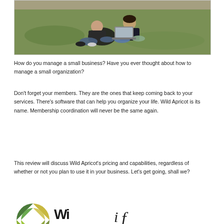[Figure (photo): Two people sitting on grass outdoors, one using a laptop computer]
How do you manage a small business? Have you ever thought about how to manage a small organization?
Don't forget your members. They are the ones that keep coming back to your services. There's software that can help you organize your life. Wild Apricot is its name. Membership coordination will never be the same again.
This review will discuss Wild Apricot's pricing and capabilities, regardless of whether or not you plan to use it in your business. Let's get going, shall we?
[Figure (logo): Wild Apricot logo — colorful pie-like circular icon and text]